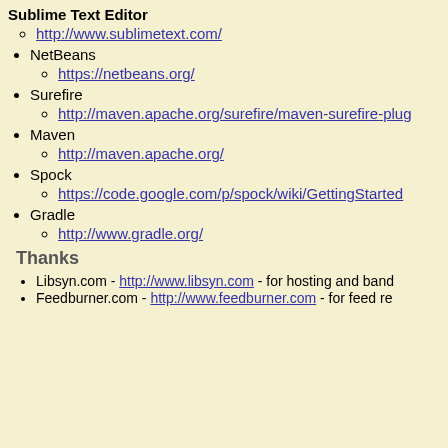Sublime Text Editor (partial, cut off at top)
http://www.sublimetext.com/
NetBeans
https://netbeans.org/
Surefire
http://maven.apache.org/surefire/maven-surefire-plug...
Maven
http://maven.apache.org/
Spock
https://code.google.com/p/spock/wiki/GettingStarted
Gradle
http://www.gradle.org/
Thanks
Libsyn.com - http://www.libsyn.com - for hosting and band...
Feedburner.com - http://www.feedburner.com - for feed re...